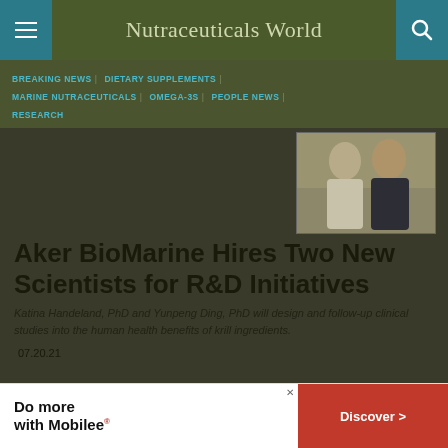Nutraceuticals World
BREAKING NEWS | DIETARY SUPPLEMENTS | MARINE NUTRACEUTICALS | OMEGA-3S | PEOPLE NEWS | RESEARCH
[Figure (photo): Two people standing together — a woman and a man — smiling, taken outdoors or at an event.]
Aker BioMarine Hires Two New Scientists for R&D Initiatives
Katina Handeland, PhD and Yunpeng Ding, PhD will design and follow-up clinical studies into the human health benefits of krill ingredients.
07.20.21
[Figure (infographic): Advertisement banner: 'Do more with Mobilee®' with a red 'Discover >' button.]